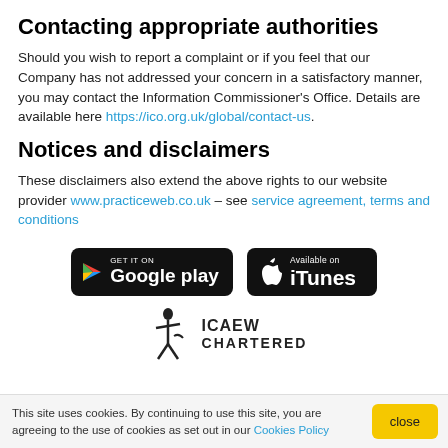Contacting appropriate authorities
Should you wish to report a complaint or if you feel that our Company has not addressed your concern in a satisfactory manner, you may contact the Information Commissioner's Office. Details are available here https://ico.org.uk/global/contact-us.
Notices and disclaimers
These disclaimers also extend the above rights to our website provider www.practiceweb.co.uk – see service agreement, terms and conditions
[Figure (logo): Google Play badge - black rounded rectangle with Play icon and text 'GET IT ON Google play']
[Figure (logo): iTunes badge - black rounded rectangle with Apple logo and text 'Available on iTunes']
[Figure (logo): ICAEW Chartered logo with figure and text 'ICAEW CHARTERED']
This site uses cookies. By continuing to use this site, you are agreeing to the use of cookies as set out in our Cookies Policy